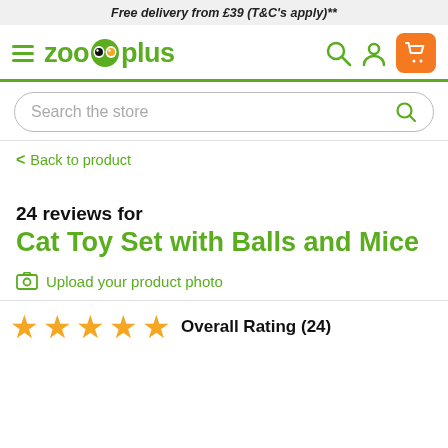Free delivery from £39 (T&C's apply)**
[Figure (logo): Zooplus logo with hamburger menu and navigation icons (search, person, cart)]
Search the store
< Back to product
24 reviews for
Cat Toy Set with Balls and Mice
Upload your product photo
Overall Rating (24)